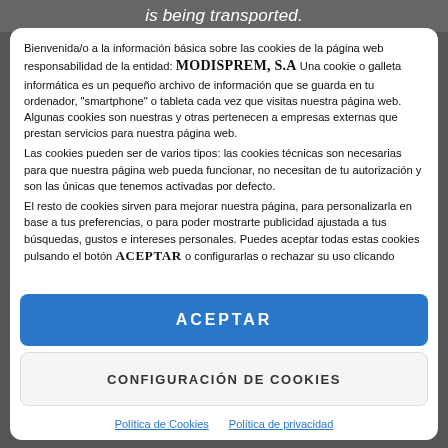is being transported.
Bienvenida/o a la información básica sobre las cookies de la página web responsabilidad de la entidad: MODISPREM, S.A Una cookie o galleta informática es un pequeño archivo de información que se guarda en tu ordenador, "smartphone" o tableta cada vez que visitas nuestra página web. Algunas cookies son nuestras y otras pertenecen a empresas externas que prestan servicios para nuestra página web.
Las cookies pueden ser de varios tipos: las cookies técnicas son necesarias para que nuestra página web pueda funcionar, no necesitan de tu autorización y son las únicas que tenemos activadas por defecto.
El resto de cookies sirven para mejorar nuestra página, para personalizarla en base a tus preferencias, o para poder mostrarte publicidad ajustada a tus búsquedas, gustos e intereses personales. Puedes aceptar todas estas cookies pulsando el botón ACEPTAR o configurarlas o rechazar su uso clicando
ACEPTAR
CONFIGURACIÓN DE COOKIES
Política de Cookies   Política de privacidad